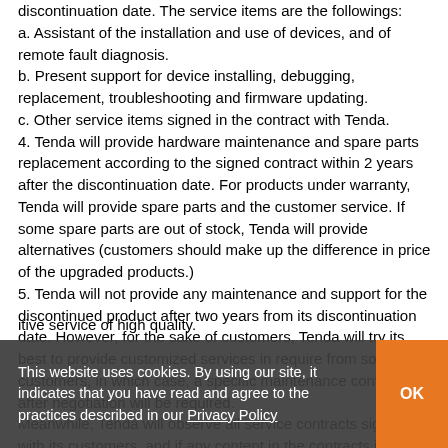discontinuation date. The service items are the followings: a. Assistant of the installation and use of devices, and of remote fault diagnosis. b. Present support for device installing, debugging, replacement, troubleshooting and firmware updating. c. Other service items signed in the contract with Tenda. 4. Tenda will provide hardware maintenance and spare parts replacement according to the signed contract within 2 years after the discontinuation date. For products under warranty, Tenda will provide spare parts and the customer service. If some spare parts are out of stock, Tenda will provide alternatives (customers should make up the difference in price of the upgraded products.) 5. Tenda will not provide any maintenance and support for the discontinued product after two years from its discontinuation date. However, for the sake of customers, Tenda will try its best to provide customized services in require from some customers, in which case, a specific maintenance contract after negotiation will be required. Meanwhile, Tenda will observe all service contracts signed with its customers, and if any content in the contracts is in confli... itive service of high quality.
This website uses cookies. By using our site, it indicates that you have read and agree to the practices described in our Privacy Policy